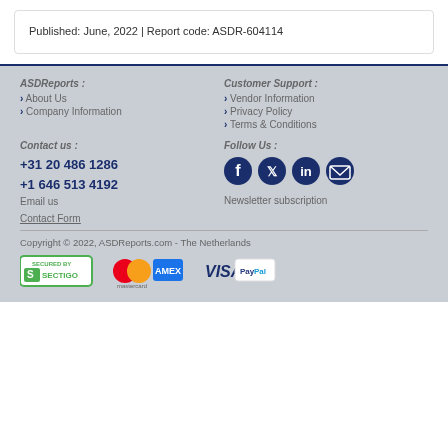Published: June, 2022 | Report code: ASDR-604114
ASDReports :
About Us
Company Information
Customer Support :
Vendor Information
Privacy Policy
Terms & Conditions
Contact us :
+31 20 486 1286
+1 646 513 4192
Email us
Contact Form
Follow Us :
[Figure (illustration): Social media icons: Facebook, Twitter, LinkedIn, Email]
Newsletter subscription
Copyright © 2022, ASDReports.com - The Netherlands
[Figure (logo): Secured by Sectigo badge and payment logos: Mastercard, American Express, Visa, PayPal]